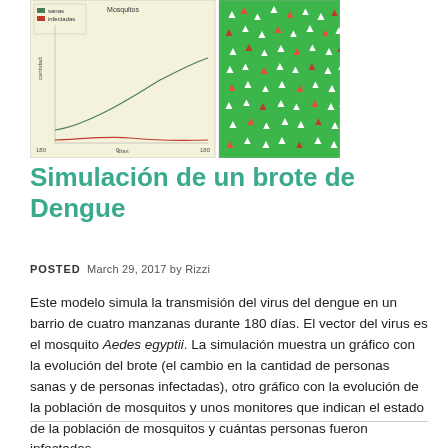[Figure (screenshot): Two simulation screenshots: left shows a line chart of dengue outbreak evolution with legend (sanas/infectadas) on a beige background, axes labeled with días (0-180) and cantidad; right shows a green grid with colored human icons representing healthy and infected individuals.]
Simulación de un brote de Dengue
POSTED  March 29, 2017 by Rizzi
Este modelo simula la transmisión del virus del dengue en un barrio de cuatro manzanas durante 180 días. El vector del virus es el mosquito Aedes egyptii. La simulación muestra un gráfico con la evolución del brote (el cambio en la cantidad de personas sanas y de personas infectadas), otro gráfico con la evolución de la población de mosquitos y unos monitores que indican el estado de la población de mosquitos y cuántas personas fueron infectadas.